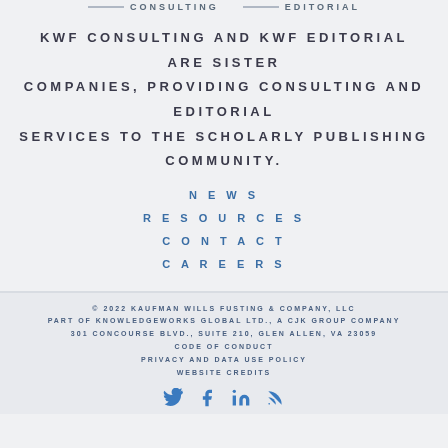CONSULTING | EDITORIAL
KWF CONSULTING AND KWF EDITORIAL ARE SISTER COMPANIES, PROVIDING CONSULTING AND EDITORIAL SERVICES TO THE SCHOLARLY PUBLISHING COMMUNITY.
NEWS
RESOURCES
CONTACT
CAREERS
© 2022 KAUFMAN WILLS FUSTING & COMPANY, LLC
PART OF KNOWLEDGEWORKS GLOBAL LTD., A CJK GROUP COMPANY
301 CONCOURSE BLVD., SUITE 210, GLEN ALLEN, VA 23059
CODE OF CONDUCT
PRIVACY AND DATA USE POLICY
WEBSITE CREDITS